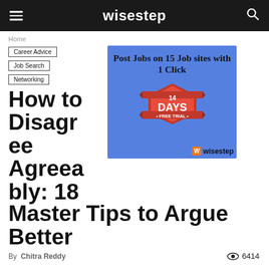wisestep
Home
Career Advice
Job Search
Networking
[Figure (illustration): Advertisement banner with blue background showing 'Post Jobs on 15 Job sites with 1 Click' with a red badge showing '14 DAYS FREE TRIAL' and wisestep logo in corner]
How to Disagree Agreeably: 18 Master Tips to Argue Better
By Chitra Reddy   6414